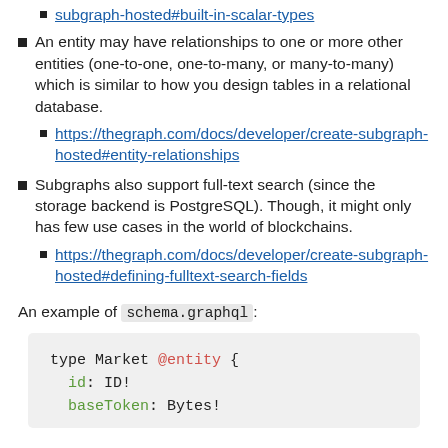subgraph-hosted#built-in-scalar-types (link)
An entity may have relationships to one or more other entities (one-to-one, one-to-many, or many-to-many) which is similar to how you design tables in a relational database.
https://thegraph.com/docs/developer/create-subgraph-hosted#entity-relationships (link)
Subgraphs also support full-text search (since the storage backend is PostgreSQL). Though, it might only has few use cases in the world of blockchains.
https://thegraph.com/docs/developer/create-subgraph-hosted#defining-fulltext-search-fields (link)
An example of schema.graphql:
type Market @entity {
  id: ID!
  baseToken: Bytes!